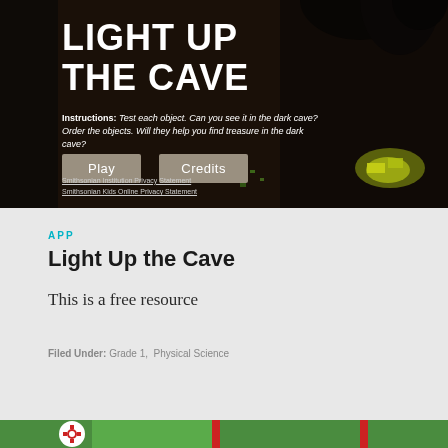[Figure (screenshot): Screenshot of 'Light Up the Cave' educational app. Dark cave background with large white text reading 'LIGHT UP THE CAVE'. Instructions text: 'Test each object. Can you see it in the dark cave? Order the objects. Will they help you find treasure in the dark cave?' Two buttons labeled 'Play' and 'Credits'. Footer links: 'Smithsonian Institution Privacy Statement' and 'Smithsonian Kids Online Privacy Statement'.]
APP
Light Up the Cave
This is a free resource
Filed Under: Grade 1, Physical Science
[Figure (screenshot): Bottom portion of a second card with green background, a white circle icon containing a red gear/settings icon, and red and green bar segments forming a navigation or category bar.]